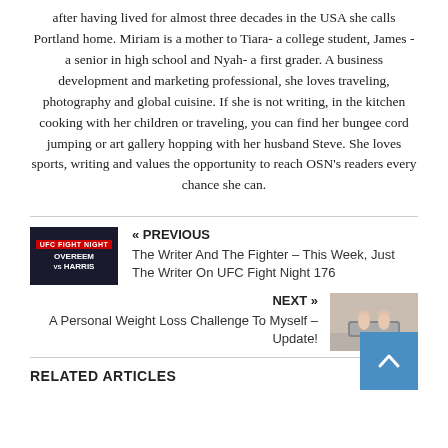after having lived for almost three decades in the USA she calls Portland home. Miriam is a mother to Tiara- a college student, James - a senior in high school and Nyah- a first grader. A business development and marketing professional, she loves traveling, photography and global cuisine. If she is not writing, in the kitchen cooking with her children or traveling, you can find her bungee cord jumping or art gallery hopping with her husband Steve. She loves sports, writing and values the opportunity to reach OSN's readers every chance she can.
[Figure (photo): UFC Fight Night thumbnail showing Overeem vs Harris fighters with UFC Fight Night logo badge in red]
« PREVIOUS
The Writer And The Fighter – This Week, Just The Writer On UFC Fight Night 176
NEXT »
A Personal Weight Loss Challenge To Myself – Update!
[Figure (photo): Photo of person's feet standing on a bathroom scale]
RELATED ARTICLES